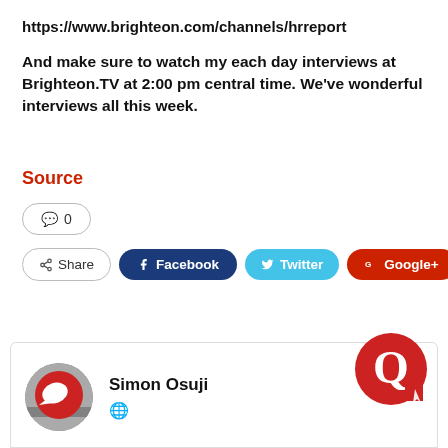https://www.brighteon.com/channels/hrreport
And make sure to watch my each day interviews at Brighteon.TV at 2:00 pm central time. We've wonderful interviews all this week.
Source
[Figure (screenshot): Social sharing UI: comment button showing 0, share buttons for Facebook, Twitter, Google+, and a plus button]
[Figure (other): Author card showing Simon Osuji with avatar and website icon, plus site logo in corner]